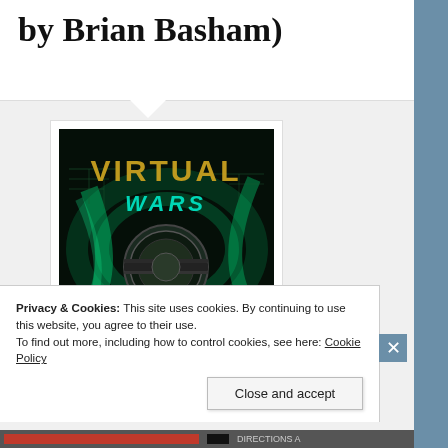by Brian Basham)
[Figure (illustration): Book cover for 'Virtual Wars: Booting Up!' — dark background with green digital swirls, circular emblem, gold 'VIRTUAL' text and teal 'WARS' text at top, subtitle 'Booting Up!' at bottom in monospace font.]
Privacy & Cookies: This site uses cookies. By continuing to use this website, you agree to their use.
To find out more, including how to control cookies, see here: Cookie Policy
Close and accept